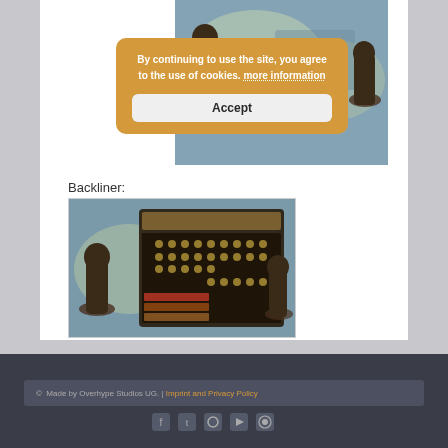[Figure (screenshot): Game screenshot partially visible at top right — medieval strategy game with robed figures and a map background]
By continuing to use the site, you agree to the use of cookies. more information
Accept
Backliner:
[Figure (screenshot): Game screenshot showing Backliner unit in a medieval strategy game — dark UI panel with unit icons and robed figures on a map]
© Made by Overhype Studios UG. | Imprint and Privacy Policy
[Figure (infographic): Social media icons: Facebook, Twitter, Steam, YouTube, RSS]